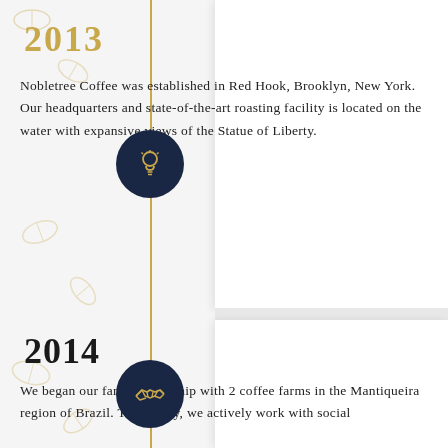2013
Nobletree Coffee was established in Red Hook, Brooklyn, New York. Our headquarters and state-of-the-art roasting facility is located on the water with expansive views of the Statue of Liberty.
[Figure (illustration): Dark navy circle with gold lightbulb icon — timeline marker for 2013]
2014
We began our farm partnership with 2 coffee farms in the Mantiqueira region of Brazil. To this day, we actively work with social
[Figure (illustration): Dark navy circle with gold handshake icon — timeline marker for 2014]